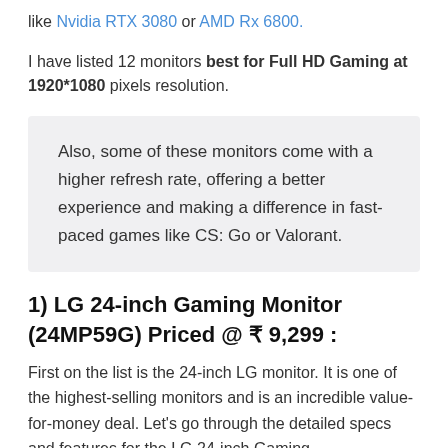like Nvidia RTX 3080 or AMD Rx 6800.
I have listed 12 monitors best for Full HD Gaming at 1920*1080 pixels resolution.
Also, some of these monitors come with a higher refresh rate, offering a better experience and making a difference in fast-paced games like CS: Go or Valorant.
1) LG 24-inch Gaming Monitor (24MP59G) Priced @ ₹ 9,299 :
First on the list is the 24-inch LG monitor. It is one of the highest-selling monitors and is an incredible value-for-money deal. Let's go through the detailed specs and features for the LG 24-inch Gaming